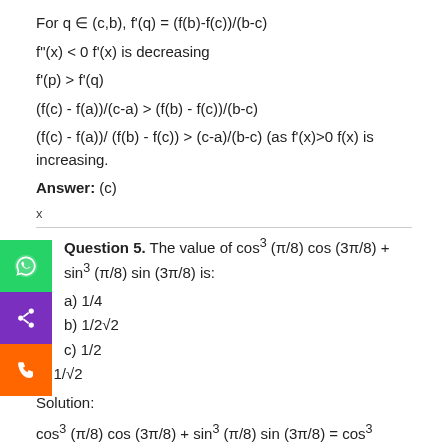For q ∈ (c,b), f'(q) = (f(b)-f(c))/(b-c)
f"(x) < 0 f'(x) is decreasing
f'(p) > f'(q)
(f(c) - f(a))/(c-a) > (f(b) - f(c))/(b-c)
(f(c) - f(a))/ (f(b) - f(c)) > (c-a)/(b-c) (as f'(x)>0 f(x) is increasing.
Answer: (c)
Question 5. The value of cos³ (π/8) cos (3π/8) + sin³ (π/8) sin (3π/8) is:
a) 1/4
b) 1/2√2
c) 1/2
d) 1/√2
Solution:
cos³ (π/8) cos (3π/8) + sin³ (π/8) sin (3π/8) = cos³